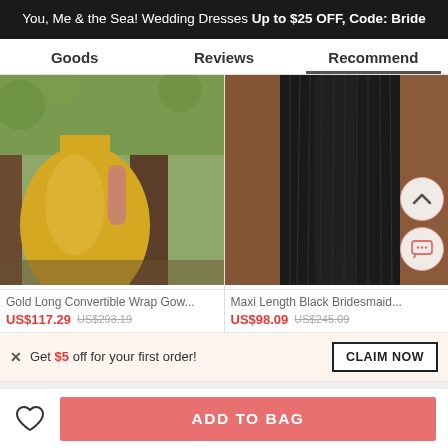You, Me & the Sea! Wedding Dresses Up to $25 OFF, Code: Bride
Goods | Reviews | Recommend
[Figure (photo): Yellow/gold long convertible wrap gown worn by a woman outdoors near trees]
[Figure (photo): Maxi length black bridesmaid dress hanging, showing flowing fabric]
Gold Long Convertible Wrap Gow...
US$117.29  US$293.19
Maxi Length Black Bridesmaid...
US$98.09  US$245.09
× Get $5 off for your first order!
CLAIM NOW
ADD TO BAG